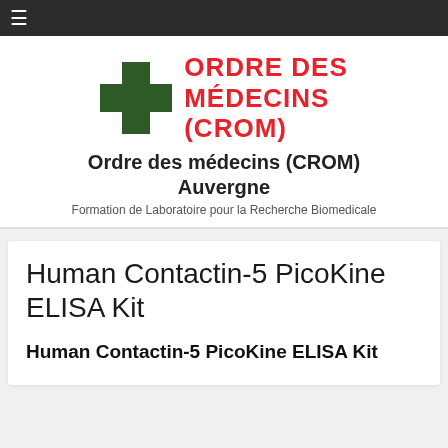☰
[Figure (logo): Ordre des Médecins (CROM) logo with green cross and red bold text]
Ordre des médecins (CROM) Auvergne
Formation de Laboratoire pour la Recherche Biomedicale
Human Contactin-5 PicoKine ELISA Kit
Human Contactin-5 PicoKine ELISA Kit